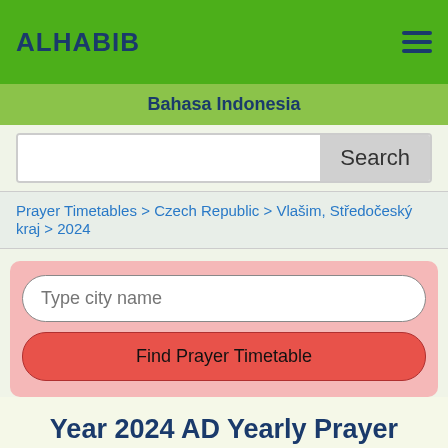ALHABIB
Bahasa Indonesia
Search
Prayer Timetables > Czech Republic > Vlašim, Středočeský kraj > 2024
Type city name
Find Prayer Timetable
Year 2024 AD Yearly Prayer Timetable (PDF, Excel versions): Vlašim, Středočeský kraj, Czech